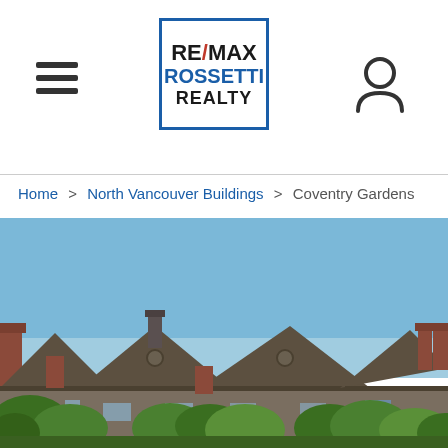[Figure (logo): RE/MAX Rossetti Realty logo in blue border box]
[Figure (illustration): Hamburger menu icon (three horizontal lines)]
[Figure (illustration): Account/person icon (circle over rectangle silhouette)]
Home > North Vancouver Buildings > Coventry Gardens
[Figure (photo): Exterior photo of Coventry Gardens townhouse complex showing multiple peaked-roof units with brown/grey siding against a clear blue sky, with green trees in the foreground]